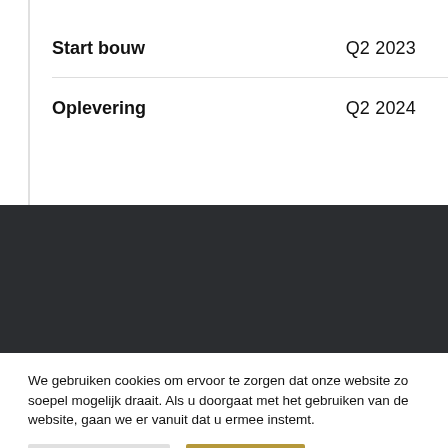|  |  |
| --- | --- |
| Start bouw | Q2 2023 |
| Oplevering | Q2 2024 |
[Figure (other): Dark decorative banner section with dark charcoal background]
We gebruiken cookies om ervoor te zorgen dat onze website zo soepel mogelijk draait. Als u doorgaat met het gebruiken van de website, gaan we er vanuit dat u ermee instemt.
Cookie Settings
Accepteer